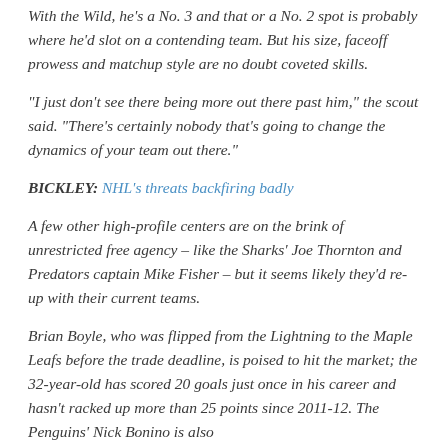With the Wild, he's a No. 3 and that or a No. 2 spot is probably where he'd slot on a contending team. But his size, faceoff prowess and matchup style are no doubt coveted skills.
“I just don’t see there being more out there past him,” the scout said. “There’s certainly nobody that’s going to change the dynamics of your team out there.”
BICKLEY: NHL’s threats backfiring badly
A few other high-profile centers are on the brink of unrestricted free agency – like the Sharks’ Joe Thornton and Predators captain Mike Fisher – but it seems likely they’d re-up with their current teams.
Brian Boyle, who was flipped from the Lightning to the Maple Leafs before the trade deadline, is poised to hit the market; the 32-year-old has scored 20 goals just once in his career and hasn’t racked up more than 25 points since 2011-12. The Penguins’ Nick Bonino is also